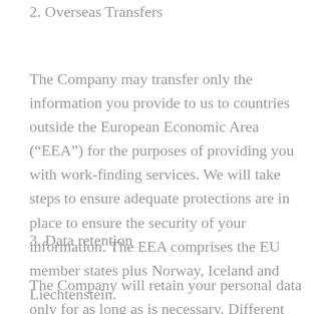2. Overseas Transfers
The Company may transfer only the information you provide to us to countries outside the European Economic Area (“EEA”) for the purposes of providing you with work-finding services. We will take steps to ensure adequate protections are in place to ensure the security of your information. The EEA comprises the EU member states plus Norway, Iceland and Liechtenstein.
3. Data retention
The Company will retain your personal data only for as long as is necessary. Different laws require us to keep different data for different periods of